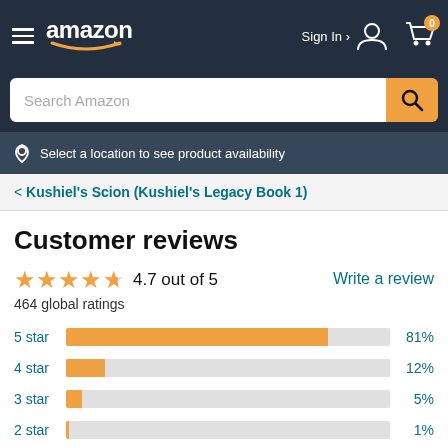amazon — Sign In — Cart (0)
Search Amazon
Select a location to see product availability
< Kushiel's Scion (Kushiel's Legacy Book 1)
Customer reviews
4.7 out of 5
Write a review
464 global ratings
[Figure (bar-chart): Star rating distribution]